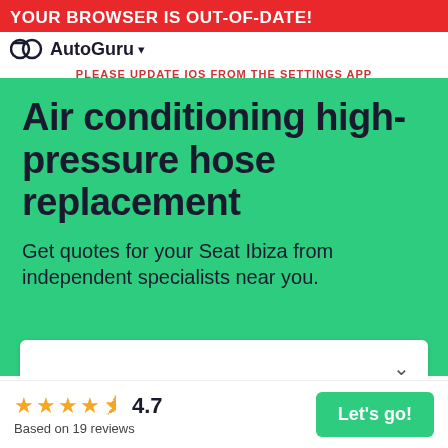YOUR BROWSER IS OUT-OF-DATE! ag AutoGuru ▾ PLEASE UPDATE IOS FROM THE SETTINGS APP
Air conditioning high-pressure hose replacement
Get quotes for your Seat Ibiza from independent specialists near you.
[Figure (other): White dropdown selector box with chevron arrow]
★★★★½ 4.7 Based on 19 reviews
Let's go!